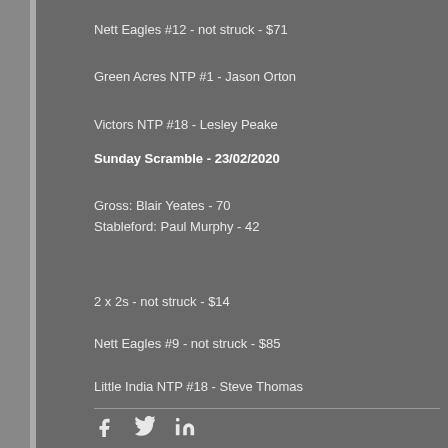Nett Eagles #12 - not struck - $71
Green Acres NTP #1 - Jason Orton
Victors NTP #18 - Lesley Peake
Sunday Scramble - 23/02/2020
Gross: Blair Yeates - 70
Stableford: Paul Murphy - 42
2 x 2s - not struck - $14
Nett Eagles #9 - not struck - $85
Little India NTP #18 - Steve Thomas
[Figure (other): Social media share icons: Facebook, Twitter, LinkedIn]